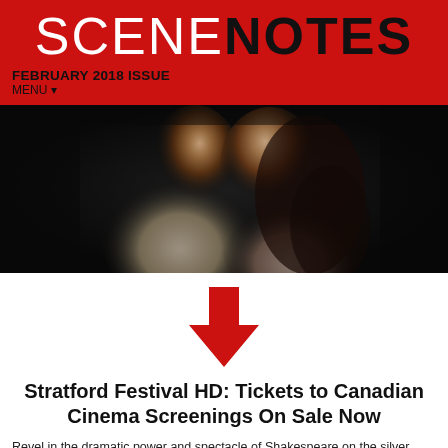SCENENOTES
FEBRUARY 2018 ISSUE
MENU ▾
[Figure (photo): Two theatrical performers in an intimate dramatic scene, close together against a dark background, dressed in period costume]
[Figure (infographic): A large red downward-pointing arrow]
Stratford Festival HD: Tickets to Canadian Cinema Screenings On Sale Now
Revel in the dramatic power and spectacle of Shakespeare on the silver screen!